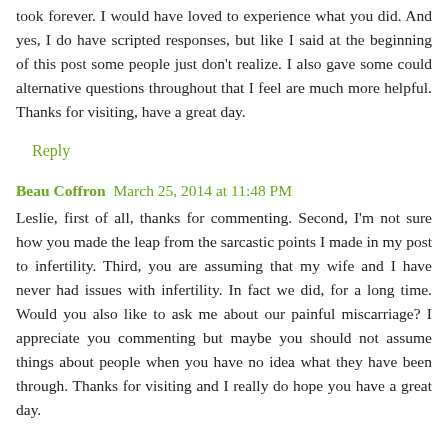took forever. I would have loved to experience what you did. And yes, I do have scripted responses, but like I said at the beginning of this post some people just don't realize. I also gave some could alternative questions throughout that I feel are much more helpful. Thanks for visiting, have a great day.
Reply
Beau Coffron  March 25, 2014 at 11:48 PM
Leslie, first of all, thanks for commenting. Second, I'm not sure how you made the leap from the sarcastic points I made in my post to infertility. Third, you are assuming that my wife and I have never had issues with infertility. In fact we did, for a long time. Would you also like to ask me about our painful miscarriage? I appreciate you commenting but maybe you should not assume things about people when you have no idea what they have been through. Thanks for visiting and I really do hope you have a great day.